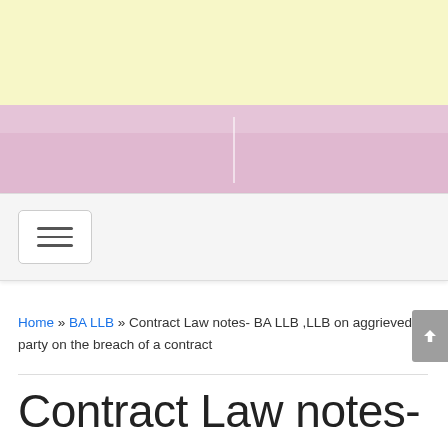[Figure (photo): Yellow banner area at the top of a website page]
[Figure (photo): Pink/mauve decorative banner with subtle vertical divider]
Navigation bar with hamburger menu toggle button
Home » BA LLB » Contract Law notes- BA LLB ,LLB on aggrieved party on the breach of a contract
Contract Law notes-